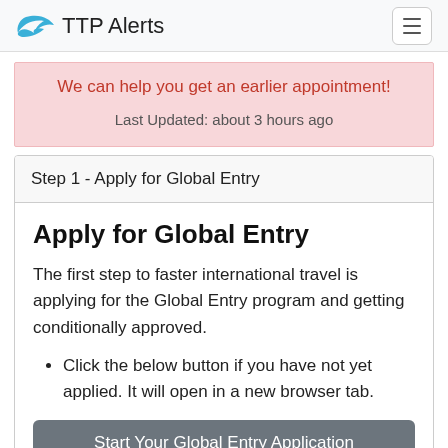TTP Alerts
We can help you get an earlier appointment!
Last Updated: about 3 hours ago
Step 1 - Apply for Global Entry
Apply for Global Entry
The first step to faster international travel is applying for the Global Entry program and getting conditionally approved.
Click the below button if you have not yet applied. It will open in a new browser tab.
Start Your Global Entry Application